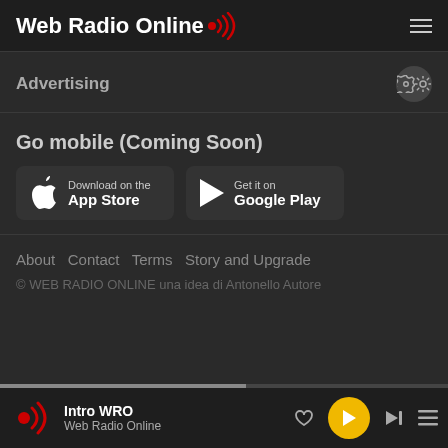Web Radio Online
Advertising
Go mobile (Coming Soon)
[Figure (screenshot): App Store download button with Apple logo]
[Figure (screenshot): Google Play download button with play triangle icon]
About  Contact  Terms  Story and Upgrade
© WEB RADIO ONLINE una idea di Antonello Autore
Intro WRO - Web Radio Online